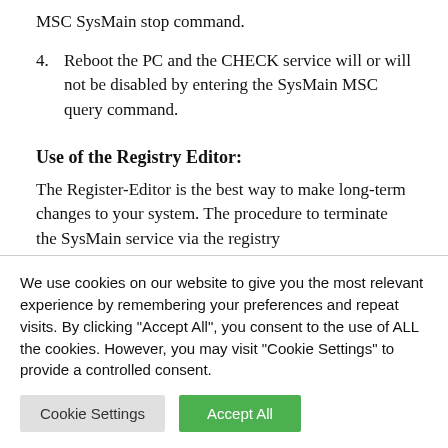MSC SysMain stop command.
4. Reboot the PC and the CHECK service will or will not be disabled by entering the SysMain MSC query command.
Use of the Registry Editor:
The Register-Editor is the best way to make long-term changes to your system. The procedure to terminate the SysMain service via the registry
We use cookies on our website to give you the most relevant experience by remembering your preferences and repeat visits. By clicking "Accept All", you consent to the use of ALL the cookies. However, you may visit "Cookie Settings" to provide a controlled consent.